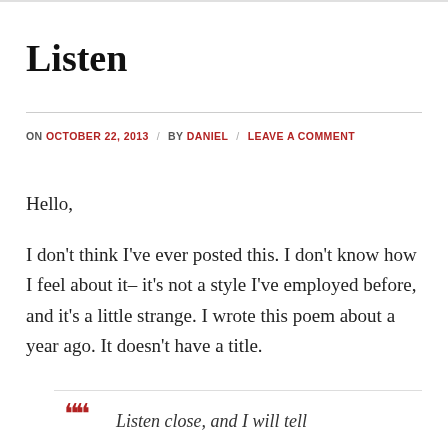Listen
ON OCTOBER 22, 2013 / BY DANIEL / LEAVE A COMMENT
Hello,
I don't think I've ever posted this. I don't know how I feel about it– it's not a style I've employed before, and it's a little strange. I wrote this poem about a year ago. It doesn't have a title.
Listen close, and I will tell